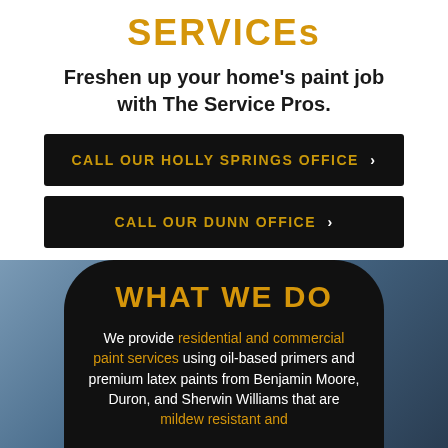SERVICES
Freshen up your home's paint job with The Service Pros.
CALL OUR HOLLY SPRINGS OFFICE >
CALL OUR DUNN OFFICE >
WHAT WE DO
We provide residential and commercial paint services using oil-based primers and premium latex paints from Benjamin Moore, Duron, and Sherwin Williams that are mildew resistant and